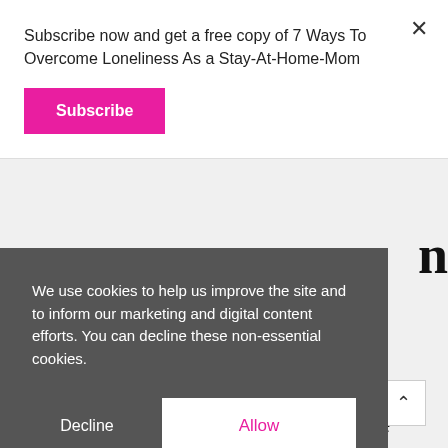Subscribe now and get a free copy of 7 Ways To Overcome Loneliness As a Stay-At-Home-Mom
Subscribe
would be looking at the totality of breastfeeding.
We use cookies to help us improve the site and to inform our marketing and digital content efforts. You can decline these non-essential cookies.
Decline
Allow
using one hand to support his head and the